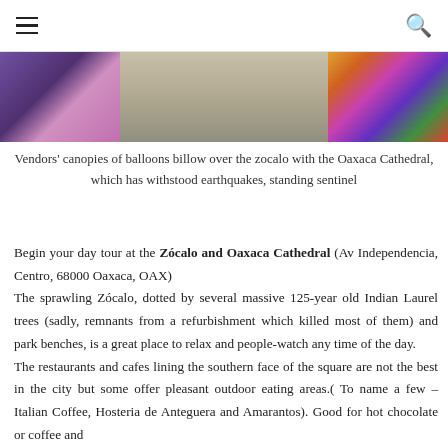☰  🔍
[Figure (photo): Photo of vendors' balloon canopies and Oaxaca Cathedral in the background, with colorful balloons on the right side]
Vendors' canopies of balloons billow over the zocalo with the Oaxaca Cathedral, which has withstood earthquakes, standing sentinel
Begin your day tour at the Zócalo and Oaxaca Cathedral (Av Independencia, Centro, 68000 Oaxaca, OAX)
The sprawling Zócalo, dotted by several massive 125-year old Indian Laurel trees (sadly, remnants from a refurbishment which killed most of them) and park benches, is a great place to relax and people-watch any time of the day.
The restaurants and cafes lining the southern face of the square are not the best in the city but some offer pleasant outdoor eating areas.( To name a few – Italian Coffee, Hosteria de Anteguera and Amarantos). Good for hot chocolate or coffee and